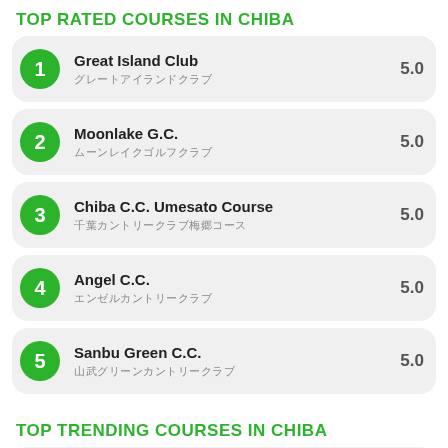TOP RATED COURSES IN CHIBA
1 Great Island Club - 5.0
2 Moonlake G.C. - 5.0
3 Chiba C.C. Umesato Course - 5.0
4 Angel C.C. - 5.0
5 Sanbu Green C.C. - 5.0
TOP TRENDING COURSES IN CHIBA
1 Narashino Country Club - 0%